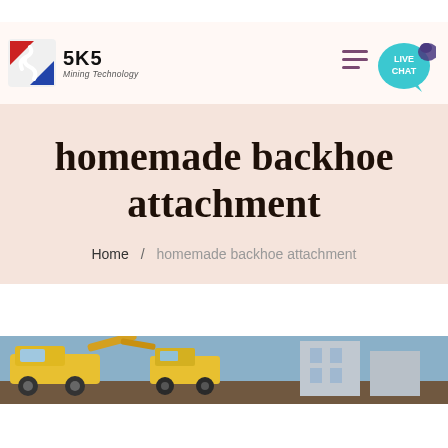[Figure (logo): SKS Mining Technology logo with red/blue icon and company name]
homemade backhoe attachment
Home / homemade backhoe attachment
[Figure (photo): Construction/mining equipment photo showing yellow machinery]